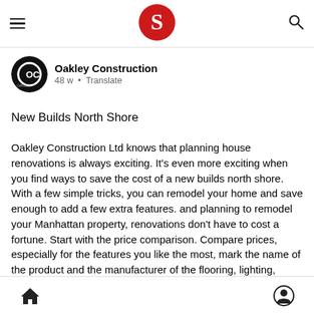≡  [Switzer logo]  🔍
[Figure (logo): Oakley Construction circular logo with OC initials in black and white]
Oakley Construction
48 w • Translate
New Builds North Shore
Oakley Construction Ltd knows that planning house renovations is always exciting. It's even more exciting when you find ways to save the cost of a new builds north shore. With a few simple tricks, you can remodel your home and save enough to add a few extra features. and planning to remodel your Manhattan property, renovations don't have to cost a fortune. Start with the price comparison. Compare prices, especially for the features you like the most, mark the name of the product and the manufacturer of the flooring, lighting, kitchen furniture or accessories that you like best so that you can consult them online. Find out what stores they sell in and at what price. Call dealers who don't have a website or network. Assign your entire renovation project to one company.
[Home icon]  [Profile icon]